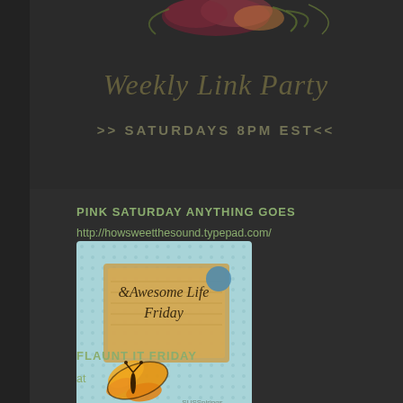[Figure (illustration): Weekly Link Party banner with floral decoration, cursive text 'Weekly Link Party' and '>> SATURDAYS 8PM EST<<' on dark background]
PINK SATURDAY ANYTHING GOES
http://howsweetthesound.typepad.com/
[Figure (photo): Awesome Life Friday blog badge showing handwritten text on a notepad with a monarch butterfly on a light blue dotted background]
FLAUNT IT FRIDAY
at